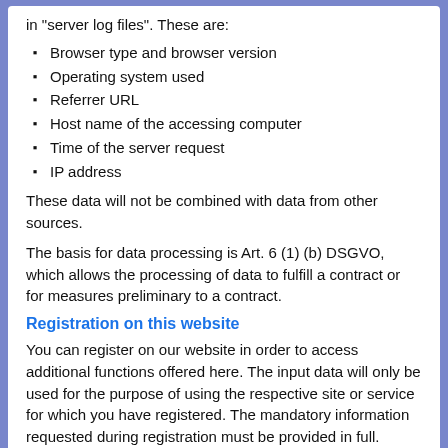in "server log files". These are:
Browser type and browser version
Operating system used
Referrer URL
Host name of the accessing computer
Time of the server request
IP address
These data will not be combined with data from other sources.
The basis for data processing is Art. 6 (1) (b) DSGVO, which allows the processing of data to fulfill a contract or for measures preliminary to a contract.
Registration on this website
You can register on our website in order to access additional functions offered here. The input data will only be used for the purpose of using the respective site or service for which you have registered. The mandatory information requested during registration must be provided in full. Otherwise, we will reject your registration.